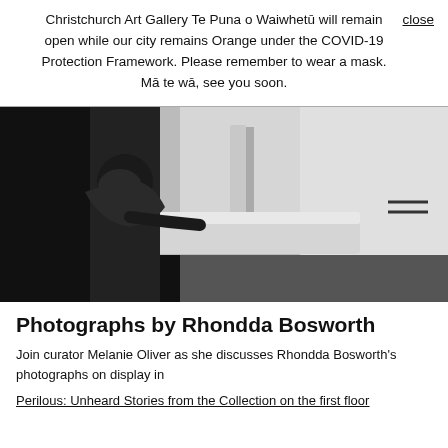Christchurch Art Gallery Te Puna o Waiwhetū will remain open while our city remains Orange under the COVID-19 Protection Framework. Please remember to wear a mask. Mā te wā, see you soon.
close
[Figure (photo): Black and white photograph of a person leaning over a bed in a sparse room with white walls and dark floor.]
Photographs by Rhondda Bosworth
Join curator Melanie Oliver as she discusses Rhondda Bosworth's photographs on display in
Perilous: Unheard Stories from the Collection on the first floor